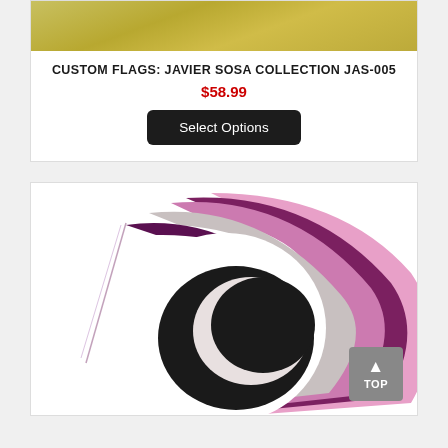[Figure (photo): Top cropped yellow/gold flag fabric image]
CUSTOM FLAGS: JAVIER SOSA COLLECTION JAS-005
$58.99
Select Options
[Figure (photo): Purple and pink flag with spiral/crescent moon design on white card background]
TOP